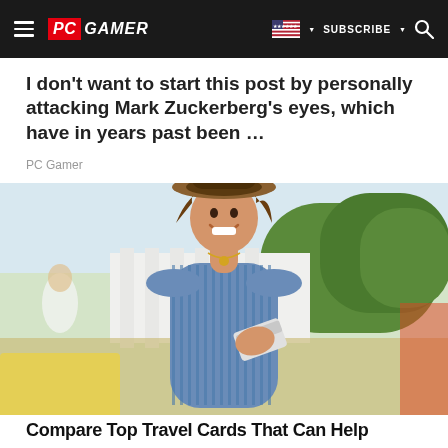PC GAMER | SUBSCRIBE | [search]
I don't want to start this post by personally attacking Mark Zuckerberg's eyes, which have in years past been …
PC Gamer
[Figure (photo): A smiling young woman wearing a wide-brimmed hat and off-shoulder striped top, holding a credit card, outdoors with a sunny background featuring white columns and green trees.]
Compare Top Travel Cards That Can Help